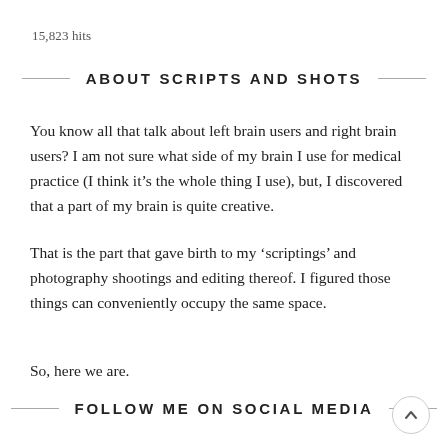15,823 hits
ABOUT SCRIPTS AND SHOTS
You know all that talk about left brain users and right brain users? I am not sure what side of my brain I use for medical practice (I think it’s the whole thing I use), but, I discovered that a part of my brain is quite creative.
That is the part that gave birth to my ‘scriptings’ and photography shootings and editing thereof. I figured those things can conveniently occupy the same space.
So, here we are.
FOLLOW ME ON SOCIAL MEDIA